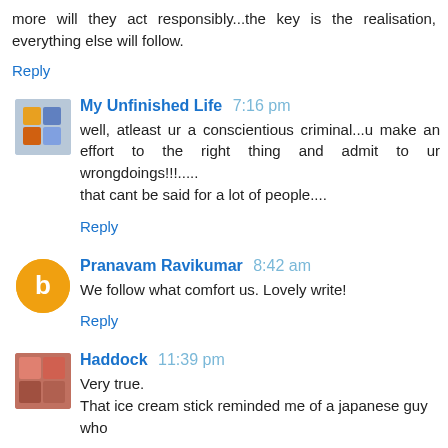more will they act responsibly...the key is the realisation, everything else will follow.
Reply
My Unfinished Life 7:16 pm
well, atleast ur a conscientious criminal...u make an effort to the right thing and admit to ur wrongdoings!!!.....
that cant be said for a lot of people....
Reply
Pranavam Ravikumar 8:42 am
We follow what comfort us. Lovely write!
Reply
Haddock 11:39 pm
Very true.
That ice cream stick reminded me of a japanese guy who